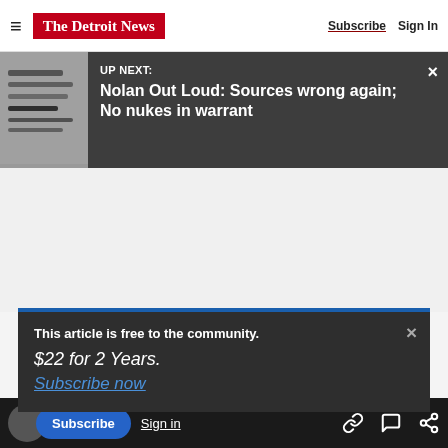The Detroit News | Subscribe | Sign In
UP NEXT: Nolan Out Loud: Sources wrong again; No nukes in warrant
This article is free to the community. $22 for 2 Years. Subscribe now
ould get from Trump.